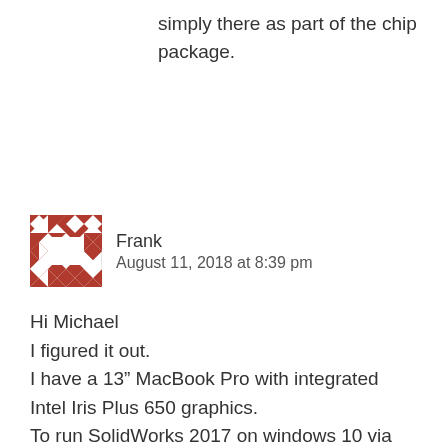simply there as part of the chip package.
Frank
August 11, 2018 at 8:39 pm
Hi Michael
I figured it out.
I have a 13” MacBook Pro with integrated Intel Iris Plus 650 graphics.
To run SolidWorks 2017 on windows 10 via Bootcamp I needed to do the following:

First, I had to install an older graphics driver. I found the right one via the SolidWorks online